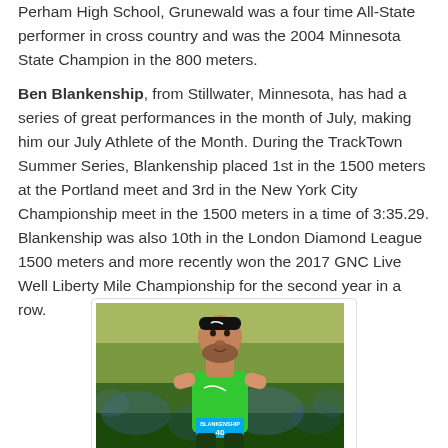Perham High School, Grunewald was a four time All-State performer in cross country and was the 2004 Minnesota State Champion in the 800 meters.
Ben Blankenship, from Stillwater, Minnesota, has had a series of great performances in the month of July, making him our July Athlete of the Month. During the TrackTown Summer Series, Blankenship placed 1st in the 1500 meters at the Portland meet and 3rd in the New York City Championship meet in the 1500 meters in a time of 3:35.29. Blankenship was also 10th in the London Diamond League 1500 meters and more recently won the 2017 GNC Live Well Liberty Mile Championship for the second year in a row.
[Figure (photo): Photo of Ben Blankenship, a male runner wearing a green Nike singlet and black headband, running in a road race with a crowd in the background. He wears a blue bib with 'BLANKENSHIP 40'.]